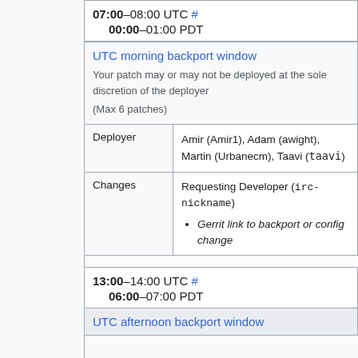07:00–08:00 UTC # / 00:00–01:00 PDT
| UTC morning backport window | Your patch may or may not be deployed at the sole discretion of the deployer (Max 6 patches) |
| Deployer | Amir (Amir1), Adam (awight), Martin (Urbanecm), Taavi (taavi) |
| Changes | Requesting Developer (irc-nickname) • Gerrit link to backport or config change |
13:00–14:00 UTC # / 06:00–07:00 PDT
| UTC afternoon backport window |  |